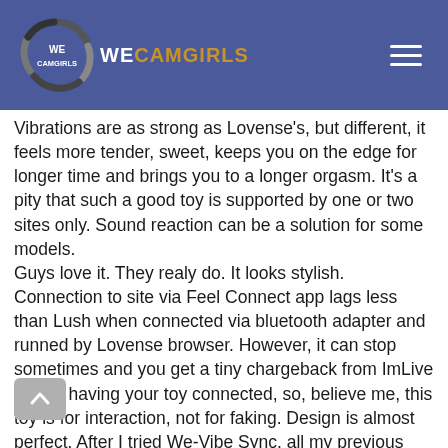WECAMGIRLS
Vibrations are as strong as Lovense's, but different, it feels more tender, sweet, keeps you on the edge for longer time and brings you to a longer orgasm. It's a pity that such a good toy is supported by one or two sites only. Sound reaction can be a solution for some models.
Guys love it. They realy do. It looks stylish. Connection to site via Feel Connect app lags less than Lush when connected via bluetooth adapter and runned by Lovense browser. However, it can stop sometimes and you get a tiny chargeback from ImLive for not having your toy connected, so, believe me, this toy is for interaction, not for faking. Design is almost perfect. After I tried We-Vibe Sync, all my previous Lovense toys feel crude and vulgar.